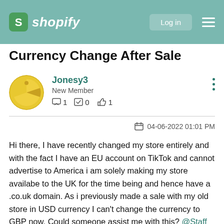Shopify — Log in
Currency Change After Sale
Jonesy3
New Member
💬 1  ✅ 0  👍 1
04-06-2022 01:01 PM
Hi there, I have recently changed my store entirely and with the fact I have an EU account on TikTok and cannot advertise to America i am solely making my store availabe to the UK for the time being and hence have a .co.uk domain. As i previously made a sale with my old store in USD currency I can't change the currency to GBP now. Could someone assist me with this? @Staff